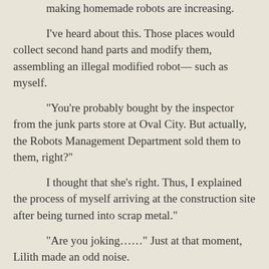making homemade robots are increasing.
I've heard about this. Those places would collect second hand parts and modify them, assembling an illegal modified robot— such as myself.
"You're probably bought by the inspector from the junk parts store at Oval City. But actually, the Robots Management Department sold them to them, right?"
I thought that she's right. Thus, I explained the process of myself arriving at the construction site after being turned into scrap metal."
"Are you joking……" Just at that moment, Lilith made an odd noise.
"What is it?"
"Wow, it's the first time I saw such a small mental